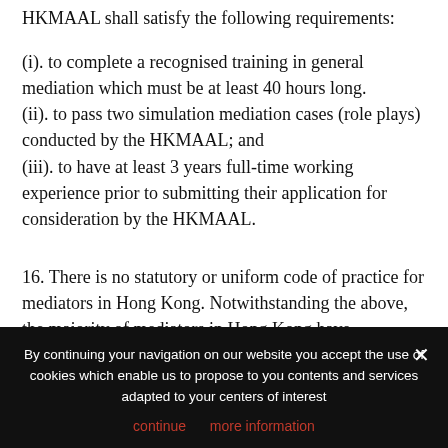HKMAAL shall satisfy the following requirements:
(i). to complete a recognised training in general mediation which must be at least 40 hours long.
(ii). to pass two simulation mediation cases (role plays) conducted by the HKMAAL; and
(iii). to have at least 3 years full-time working experience prior to submitting their application for consideration by the HKMAAL.
16. There is no statutory or uniform code of practice for mediators in Hong Kong. Notwithstanding the above, the majority of mediators in Hong Kong have
By continuing your navigation on our website you accept the use of cookies which enable us to propose to you contents and services adapted to your centers of interest
continue   more information